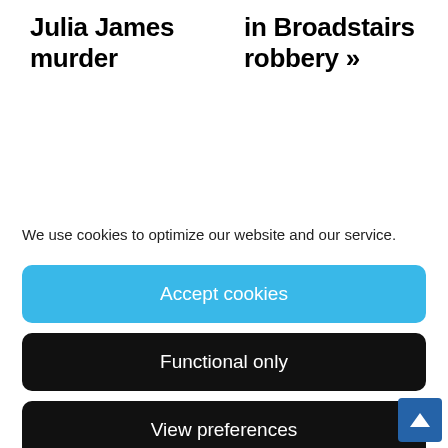Julia James murder
in Broadstairs robbery »
We use cookies to optimize our website and our service.
Accept cookies
Functional only
View preferences
[Figure (photo): Photo of police radio device and equipment, dark background with yellow blurred background at left]